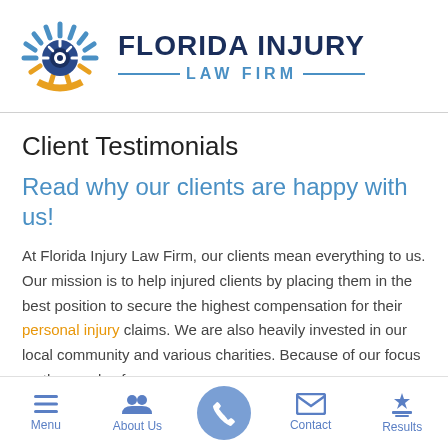[Figure (logo): Florida Injury Law Firm logo: circular sunburst icon in blue, white, and gold, with firm name in navy bold text and 'LAW FIRM' in blue with decorative lines]
Client Testimonials
Read why our clients are happy with us!
At Florida Injury Law Firm, our clients mean everything to us. Our mission is to help injured clients by placing them in the best position to secure the highest compensation for their personal injury claims. We are also heavily invested in our local community and various charities. Because of our focus on the needs of
Menu | About Us | [Phone] | Contact | Results